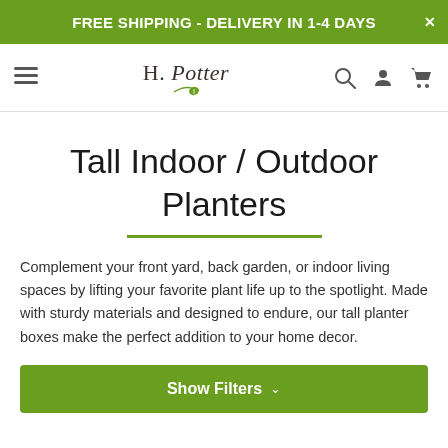FREE SHIPPING - DELIVERY IN 1-4 DAYS
[Figure (logo): H. Potter brand logo with stylized text and green leaf icon, navigation bar with hamburger menu, search icon, user icon, and cart icon]
Tall Indoor / Outdoor Planters
Complement your front yard, back garden, or indoor living spaces by lifting your favorite plant life up to the spotlight. Made with sturdy materials and designed to endure, our tall planter boxes make the perfect addition to your home decor.
Show Filters